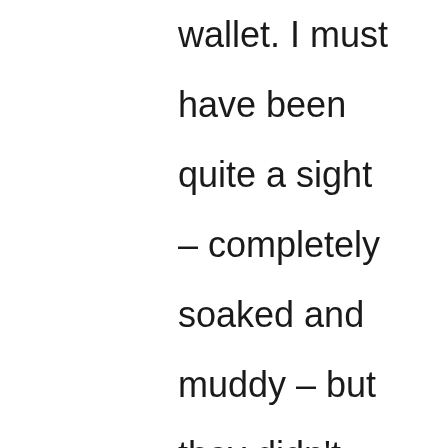wallet. I must have been quite a sight – completely soaked and muddy – but they didn't kick me out, though the desk attendant thought I was insane when I showed up to check back out 4